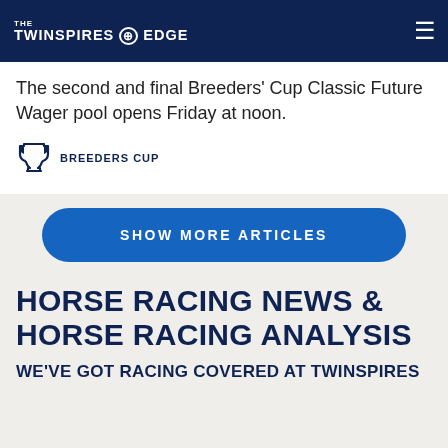THE TWINSPIRES EDGE
The second and final Breeders' Cup Classic Future Wager pool opens Friday at noon.
BREEDERS CUP
SHOW MORE ARTICLES
HORSE RACING NEWS & HORSE RACING ANALYSIS
WE'VE GOT RACING COVERED AT TWINSPIRES